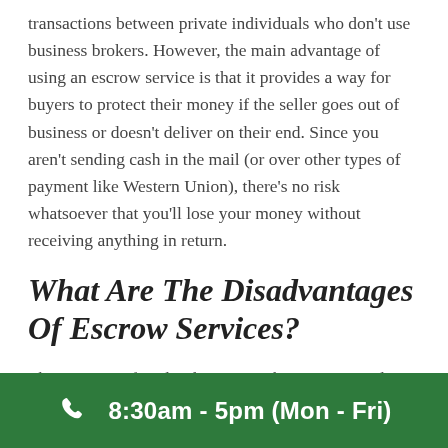transactions between private individuals who don't use business brokers. However, the main advantage of using an escrow service is that it provides a way for buyers to protect their money if the seller goes out of business or doesn't deliver on their end. Since you aren't sending cash in the mail (or over other types of payment like Western Union), there's no risk whatsoever that you'll lose your money without receiving anything in return.
What Are The Disadvantages Of Escrow Services?
There are very few disadvantages when using an online escrow company – aside from paying them a fee every time they send you money through a wire transfer or another
8:30am - 5pm (Mon - Fri)